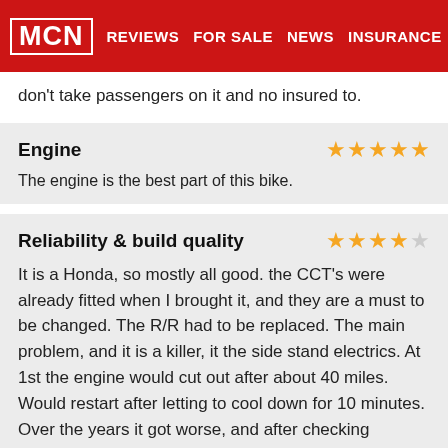MCN | REVIEWS | FOR SALE | NEWS | INSURANCE
don't take passengers on it and no insured to.
Engine
The engine is the best part of this bike.
Reliability & build quality
It is a Honda, so mostly all good. the CCT's were already fitted when I brought it, and they are a must to be changed. The R/R had to be replaced. The main problem, and it is a killer, it the side stand electrics. At 1st the engine would cut out after about 40 miles. Would restart after letting to cool down for 10 minutes. Over the years it got worse, and after checking everything, I fitted a new CDI and ECU, but no change. It anded up so bad, that it almost killed me. The engine cut out in the 4th lane were 2 motorways merge, and I was stuck leaning against the centre armco with can whizzing past with a fer inches to